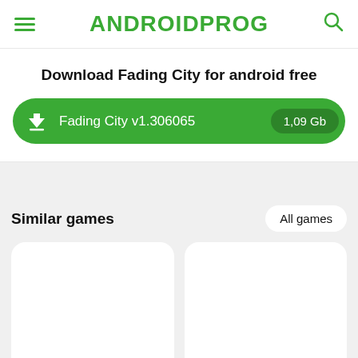ANDROIDPROG
Download Fading City for android free
Fading City v1.306065  1,09 Gb
Similar games
All games